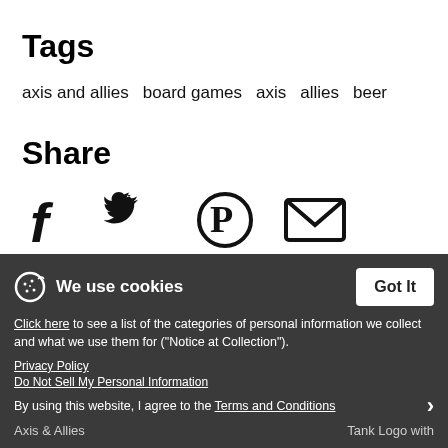Tags
axis and allies   board games   axis   allies   beer
Share
[Figure (infographic): Social share icons: Facebook, Twitter, Pinterest, Email]
More designs
We use cookies
Click here to see a list of the categories of personal information we collect and what we use them for ("Notice at Collection").
Privacy Policy
Do Not Sell My Personal Information
By using this website, I agree to the Terms and Conditions
Axis & Allies   Tank Logo with